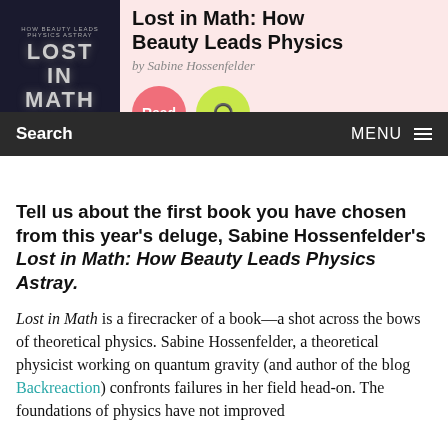[Figure (illustration): Book cover of 'Lost in Math: How Beauty Leads Physics Astray' by Sabine Hossenfelder, dark background with stylized typography]
Lost in Math: How Beauty Leads Physics Astray
by Sabine Hossenfelder
Search   MENU
Tell us about the first book you have chosen from this year's deluge, Sabine Hossenfelder's Lost in Math: How Beauty Leads Physics Astray.
Lost in Math is a firecracker of a book—a shot across the bows of theoretical physics. Sabine Hossenfelder, a theoretical physicist working on quantum gravity (and author of the blog Backreaction) confronts failures in her field head-on. The foundations of physics have not improved